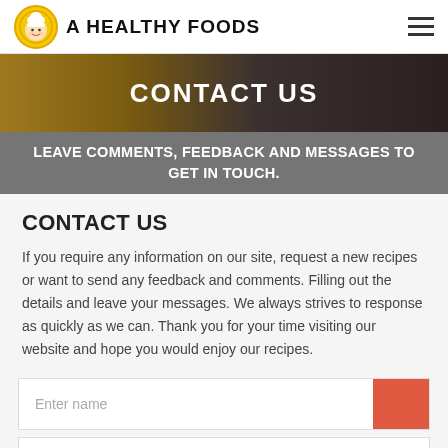A HEALTHY FOODS
CONTACT US
LEAVE COMMENTS, FEEDBACK AND MESSAGES TO GET IN TOUCH.
CONTACT US
If you require any information on our site, request a new recipes or want to send any feedback and comments. Filling out the details and leave your messages. We always strives to response as quickly as we can. Thank you for your time visiting our website and hope you would enjoy our recipes.
Enter name